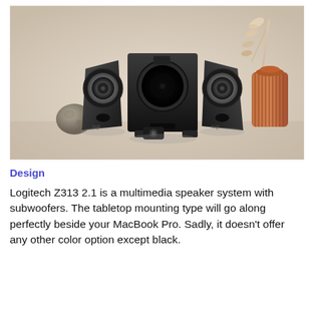[Figure (photo): Product photo of the Logitech Z313 2.1 speaker system showing two satellite speakers, a subwoofer in the center, a small control pod, a decorative stone, and a ribbed vase, all arranged on a light beige surface.]
Design
Logitech Z313 2.1 is a multimedia speaker system with subwoofers. The tabletop mounting type will go along perfectly beside your MacBook Pro. Sadly, it doesn't offer any other color option except black.